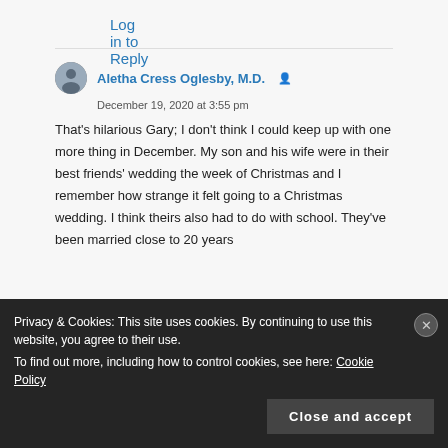Log in to Reply
Aletha Cress Oglesby, M.D.
December 19, 2020 at 3:55 pm
That’s hilarious Gary; I don’t think I could keep up with one more thing in December. My son and his wife were in their best friends’ wedding the week of Christmas and I remember how strange it felt going to a Christmas wedding. I think theirs also had to do with school. They’ve been married close to 20 years
Privacy & Cookies: This site uses cookies. By continuing to use this website, you agree to their use. To find out more, including how to control cookies, see here: Cookie Policy
Close and accept